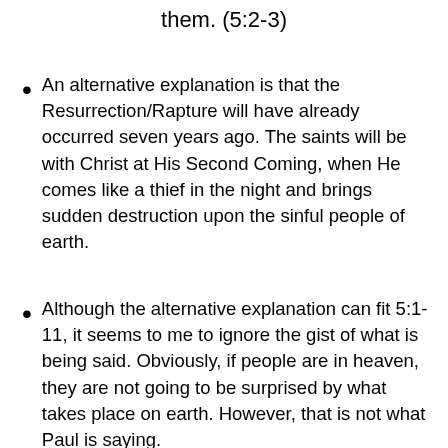them. (5:2-3)
An alternative explanation is that the Resurrection/Rapture will have already occurred seven years ago.  The saints will be with Christ at His Second Coming, when He comes like a thief in the night and brings sudden destruction upon the sinful people of earth.
Although the alternative explanation can fit 5:1-11, it seems to me to ignore the gist of what is being said.  Obviously, if people are in heaven, they are not going to be surprised by what takes place on earth. However, that is not what Paul is saying.